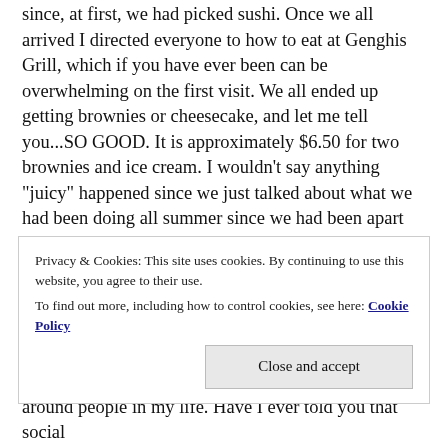since, at first, we had picked sushi. Once we all arrived I directed everyone to how to eat at Genghis Grill, which if you have ever been can be overwhelming on the first visit. We all ended up getting brownies or cheesecake, and let me tell you...SO GOOD. It is approximately $6.50 for two brownies and ice cream. I wouldn't say anything "juicy" happened since we just talked about what we had been doing all summer since we had been apart for about a month.
To keep this simple and short I had really good conversation with my friends and a heart to heart with the one who drove me since we have talked about me
Privacy & Cookies: This site uses cookies. By continuing to use this website, you agree to their use.
To find out more, including how to control cookies, see here: Cookie Policy
around people in my life. Have I ever told you that social